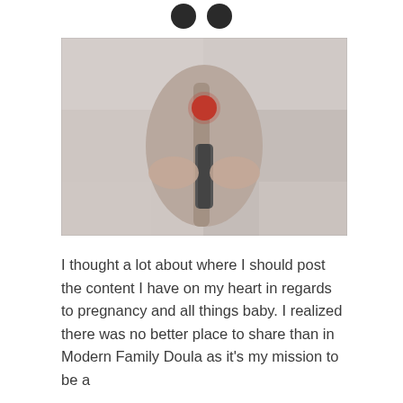[Figure (photo): A blurry close-up photo showing what appears to be a pregnant belly or baby-related image with a red circular element and dark cylindrical object, set against a light fabric background.]
I thought a lot about where I should post the content I have on my heart in regards to pregnancy and all things baby. I realized there was no better place to share than in Modern Family Doula as it's my mission to be a